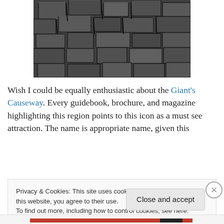[Figure (photo): Close-up photograph of Giant's Causeway hexagonal basalt columns, dark grey stone formations viewed from above]
Wish I could be equally enthusiastic about the Giant's Causeway. Every guidebook, brochure, and magazine highlighting this region points to this icon as a must see attraction. The name is appropriate name, given this
Privacy & Cookies: This site uses cookies. By continuing to use this website, you agree to their use.
To find out more, including how to control cookies, see here: Cookie Policy